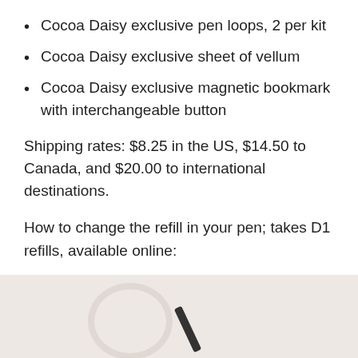Cocoa Daisy exclusive pen loops, 2 per kit
Cocoa Daisy exclusive sheet of vellum
Cocoa Daisy exclusive magnetic bookmark with interchangeable button
Shipping rates: $8.25 in the US, $14.50 to Canada, and $20.00 to international destinations.
How to change the refill in your pen; takes D1 refills, available online:
[Figure (photo): Photo showing a cream/beige oval pen loop and a dark pen refill on a light background]